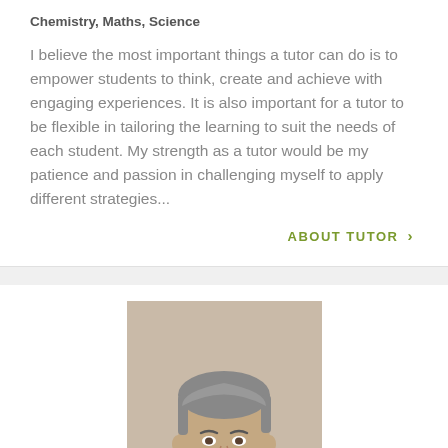Chemistry, Maths, Science
I believe the most important things a tutor can do is to empower students to think, create and achieve with engaging experiences. It is also important for a tutor to be flexible in tailoring the learning to suit the needs of each student. My strength as a tutor would be my patience and passion in challenging myself to apply different strategies...
ABOUT TUTOR >
[Figure (photo): Headshot photo of a middle-aged man with grey-streaked hair, facing the camera, wearing a light blue shirt, photographed against a beige/cream background.]